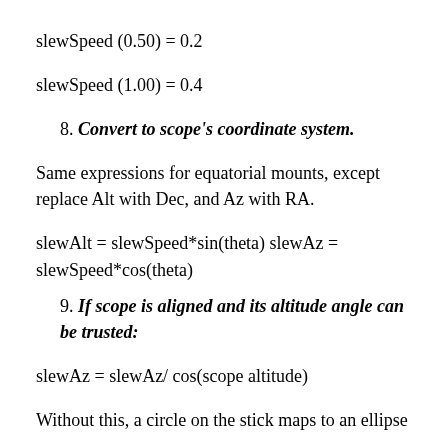slewSpeed (0.50) = 0.2
slewSpeed (1.00) = 0.4
8. Convert to scope's coordinate system.
Same expressions for equatorial mounts, except replace Alt with Dec, and Az with RA.
slewAlt = slewSpeed*sin(theta) slewAz = slewSpeed*cos(theta)
9. If scope is aligned and its altitude angle can be trusted:
slewAz = slewAz/ cos(scope altitude)
Without this, a circle on the stick maps to an ellipse